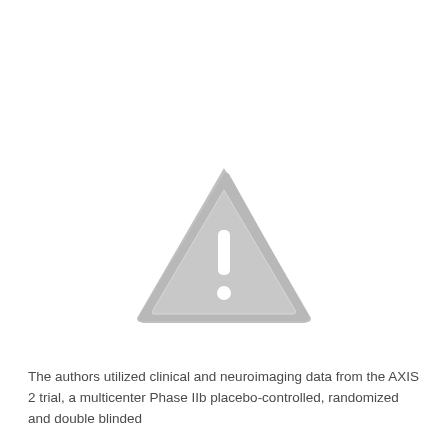[Figure (other): A warning/caution triangle icon in light gray, with a white exclamation mark inside, centered on the upper portion of the page. The triangle has rounded corners and a slightly lighter inner border.]
The authors utilized clinical and neuroimaging data from the AXIS 2 trial, a multicenter Phase IIb placebo-controlled, randomized and double blinded